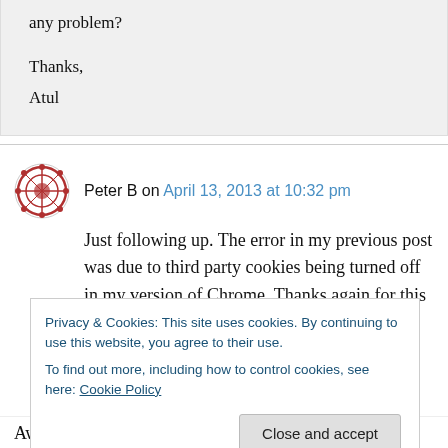any problem?

Thanks,
Atul
Peter B on April 13, 2013 at 10:32 pm
Just following up. The error in my previous post was due to third party cookies being turned off in my version of Chrome. Thanks again for this
Privacy & Cookies: This site uses cookies. By continuing to use this website, you agree to their use.
To find out more, including how to control cookies, see here: Cookie Policy
Close and accept
Awosomo! Thanks for the update. This will